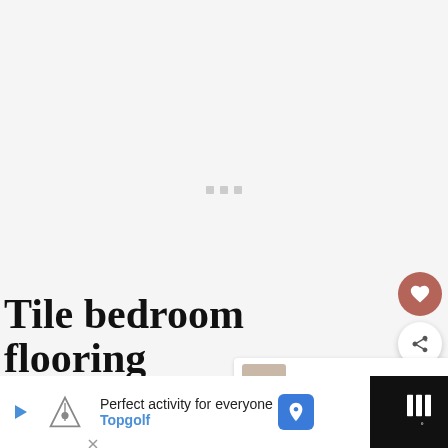[Figure (photo): Large image placeholder with loading dots (three small grey squares) on a light grey/white background]
[Figure (photo): Small thumbnail image for 'What's Next' panel showing a garage conversion interior]
WHAT'S NEXT → 16 Garage Conversion...
Tile bedroom flooring
Perfect activity for everyone Topgolf